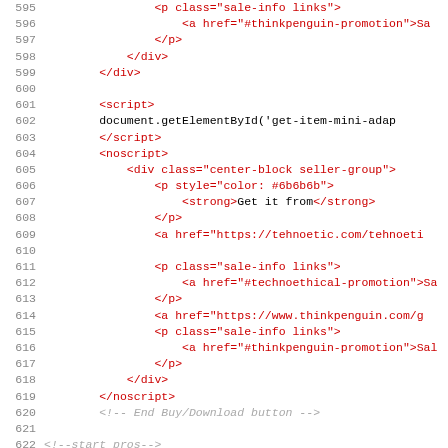[Figure (screenshot): Source code viewer showing HTML/JavaScript code lines 595-627, with line numbers on the left, HTML tags in red, attribute values in red, JavaScript in black monospace, and comments in gray italic. White background.]